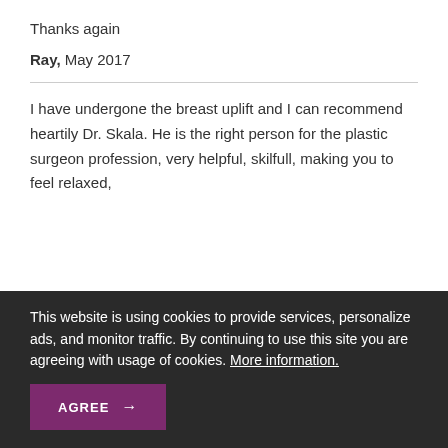Thanks again
Ray, May 2017
I have undergone the breast uplift and I can recommend heartily Dr. Skala. He is the right person for the plastic surgeon profession, very helpful, skilfull, making you to feel relaxed,
This website is using cookies to provide services, personalize ads, and monitor traffic. By continuing to use this site you are agreeing with usage of cookies. More information.
AGREE →